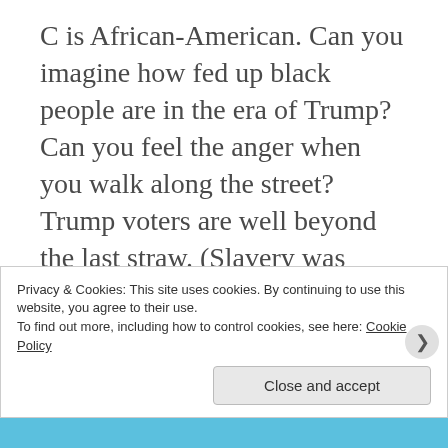C is African-American. Can you imagine how fed up black people are in the era of Trump? Can you feel the anger when you walk along the street? Trump voters are well beyond the last straw. (Slavery was probably the true last straw). I don’t think they’re in a conciliatory mood. But that’s not the business of white people now. We have a different task: We have to protect the rights of black people, poor people and
Privacy & Cookies: This site uses cookies. By continuing to use this website, you agree to their use.
To find out more, including how to control cookies, see here: Cookie Policy
Close and accept